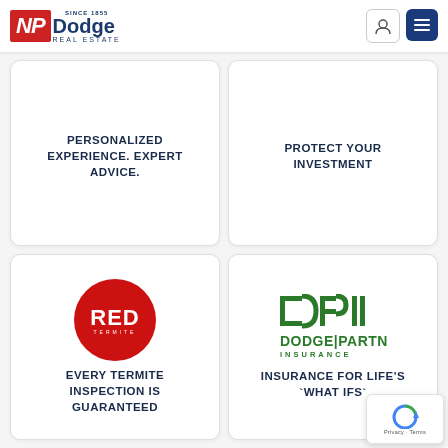[Figure (logo): NP Dodge Real Estate logo with red NP block and blue Dodge text, Since 1855]
PERSONALIZED EXPERIENCE. EXPERT ADVICE.
PROTECT YOUR INVESTMENT
[Figure (logo): RED Termite logo - red circle with RED text in white]
EVERY TERMITE INSPECTION IS GUARANTEED
[Figure (logo): Dodge Partners Insurance logo - DPI icon with green text]
INSURANCE FOR LIFE'S `WHAT IFS`